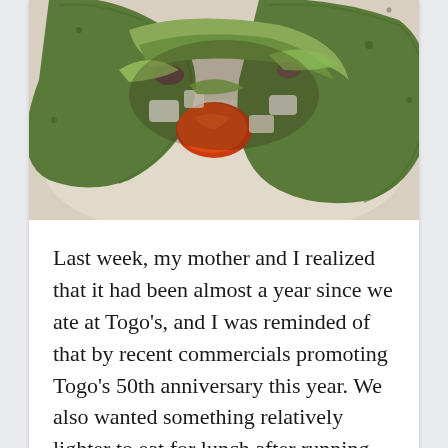[Figure (photo): Close-up photo of a green spinach wrap/burrito cut open, showing filling of lettuce, tomatoes, onions, and other vegetables on a plate.]
Last week, my mother and I realized that it had been almost a year since we ate at Togo's, and I was reminded of that by recent commercials promoting Togo's 50th anniversary this year. We also wanted something relatively lighter to eat for lunch after running errands on Tuesday, May 18. Last year we ate and reviewed sandwiches from Togo's on this occasion, tall about